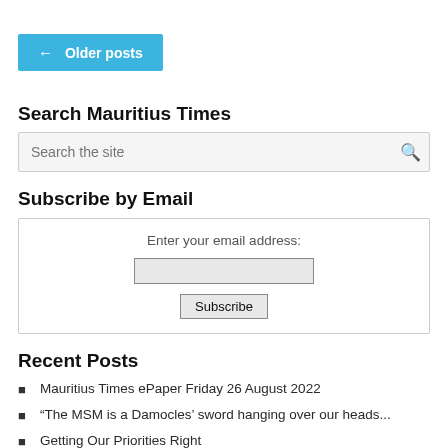[Figure (other): Blue button with left arrow and text 'Older posts']
Search Mauritius Times
[Figure (other): Search input box with placeholder 'Search the site' and a search icon]
Subscribe by Email
[Figure (other): Email subscription form with 'Enter your email address:' label, an input field, and a Subscribe button]
Recent Posts
Mauritius Times ePaper Friday 26 August 2022
“The MSM is a Damocles’ sword hanging over our heads...
Getting Our Priorities Right